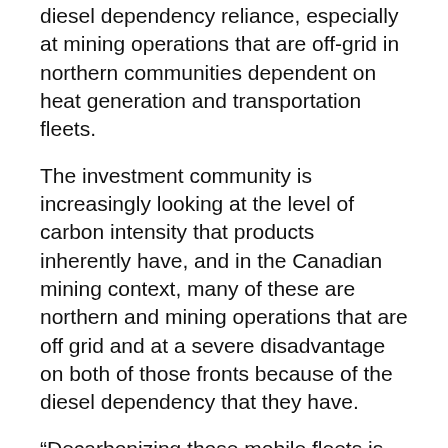diesel dependency reliance, especially at mining operations that are off-grid in northern communities dependent on heat generation and transportation fleets.
The investment community is increasingly looking at the level of carbon intensity that products inherently have, and in the Canadian mining context, many of these are northern and mining operations that are off grid and at a severe disadvantage on both of those fronts because of the diesel dependency that they have.
“Decarbonizing those mobile fleets is going to require heavy-duty electrification, or hydrogen. With off gid mines, SMRs are scalable, portable nuclear reactors